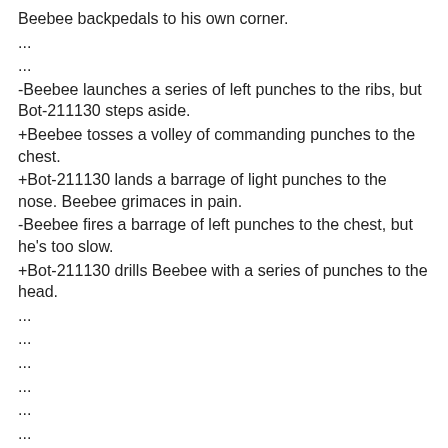Beebee backpedals to his own corner.
...
...
-Beebee launches a series of left punches to the ribs, but Bot-211130 steps aside.
+Beebee tosses a volley of commanding punches to the chest.
+Bot-211130 lands a barrage of light punches to the nose. Beebee grimaces in pain.
-Beebee fires a barrage of left punches to the chest, but he's too slow.
+Bot-211130 drills Beebee with a series of punches to the head.
...
...
...
...
...
...